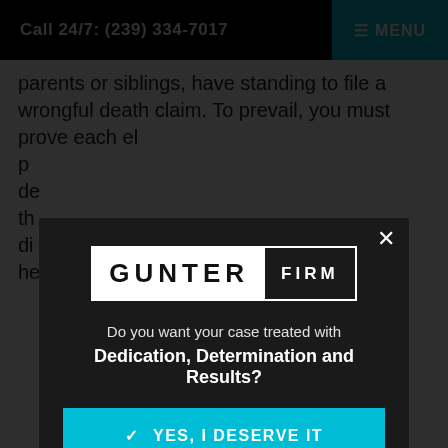Call 24/7: (239) 334-7017   ≡ MENU
parents or siblings, have standing to file a wrongful death claim. To prevail, you must prove each el... p... de... th... di... he...
[Figure (screenshot): Modal dialog overlay on a legal website. Contains the Gunter Firm logo, tagline 'Do you want your case treated with Dedication, Determination and Results?', a teal 'YES, I DESERVE IT' button, and a gray 'No thanks, I don't need help' button. A close (×) button is in the top right corner.]
O... w...